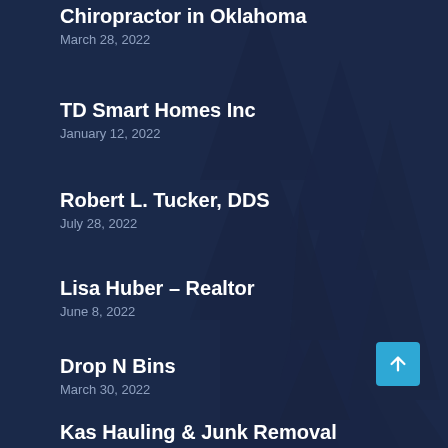Chiropractor in Oklahoma
March 28, 2022
TD Smart Homes Inc
January 12, 2022
Robert L. Tucker, DDS
July 28, 2022
Lisa Huber – Realtor
June 8, 2022
Drop N Bins
March 30, 2022
Kas Hauling & Junk Removal